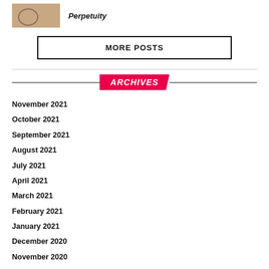[Figure (photo): Small thumbnail image showing tools on wood surface]
Perpetuity
MORE POSTS
ARCHIVES
November 2021
October 2021
September 2021
August 2021
July 2021
April 2021
March 2021
February 2021
January 2021
December 2020
November 2020
January 2020